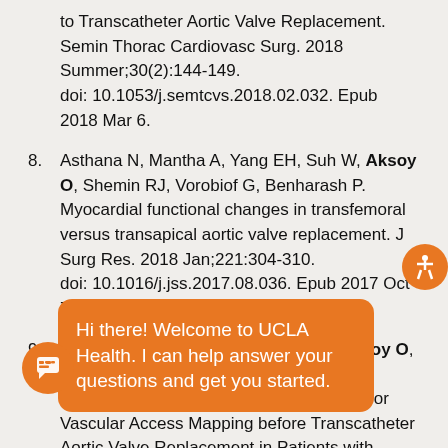to Transcatheter Aortic Valve Replacement. Semin Thorac Cardiovasc Surg. 2018 Summer;30(2):144-149. doi: 10.1053/j.semtcvs.2018.02.032. Epub 2018 Mar 6.
8. Asthana N, Mantha A, Yang EH, Suh W, Aksoy O, Shemin RJ, Vorobiof G, Benharash P. Myocardial functional changes in transfemoral versus transapical aortic valve replacement. J Surg Res. 2018 Jan;221:304-310. doi: 10.1016/j.jss.2017.08.036. Epub 2017 Oct 7.
9. Nguyen KL, Moriarty JM, Plotnik AN, Aksoy O, Yoshida T, Shemin RJ, Suh WM, Finn JP. Ferumoxytol-enhanced MR Angiography for Vascular Access Mapping before Transcatheter Aortic Valve Replacement in Patients with Renal Impairment: A Step Toward Patient-specific Care. Radio[logygy] [19...] 1[...]
10. Garg [V...] Giant cell myocarditis masquerading as orbital myositis
Hi there! Welcome to UCLA Health. I can help answer your questions and get you started.